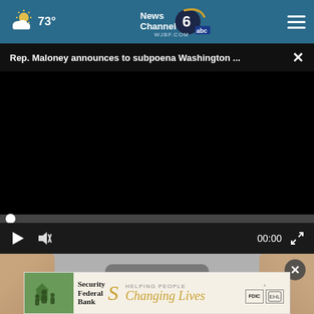73° News Channel 6 abc WJBF.COM
Rep. Maloney announces to subpoena Washington ...
[Figure (screenshot): Black video player area showing a paused video with progress bar at beginning and playback controls including play button, mute button, timestamp 00:00, and fullscreen button]
[Figure (photo): Close-up photo of fingers holding a device, with a circular close button overlay]
[Figure (other): Security Federal Bank advertisement banner with family photo, bank logo, S curl symbol, and tagline HELPING PEOPLE Changing Lives with FDIC and Equal Housing Lender logos]